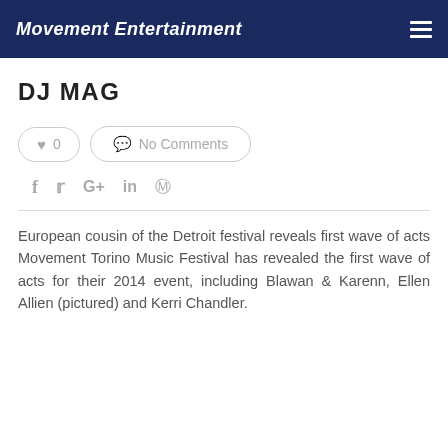Movement Entertainment
DJ MAG
0   No Comments
f  t  G+  in  p
European cousin of the Detroit festival reveals first wave of acts Movement Torino Music Festival has revealed the first wave of acts for their 2014 event, including Blawan & Karenn, Ellen Allien (pictured) and Kerri Chandler.